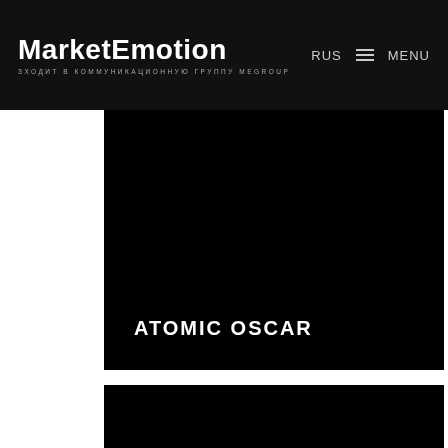MarketEmotion — ЗХОДИТ В КОММУНИКАЦИОННУЮ ГРУППУ MEGROUP | RUS | MENU
[Figure (screenshot): Black rectangular panel with white bold text 'ATOMIC OSCAR' at the bottom left]
[Figure (screenshot): Black rectangular panel, partially visible at the bottom of the page]